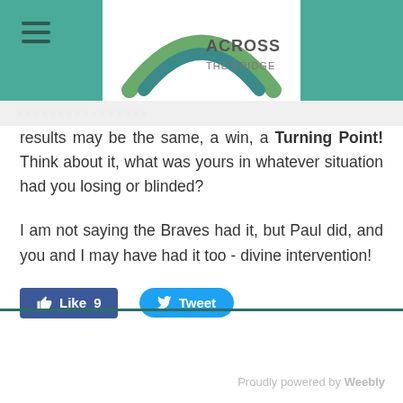ACROSS THE BRIDGE
results may be the same, a win, a Turning Point! Think about it, what was yours in whatever situation had you losing or blinded?
I am not saying the Braves had it, but Paul did, and you and I may have had it too - divine intervention!
[Figure (other): Facebook Like button showing count 9 and Twitter Tweet button]
Proudly powered by Weebly